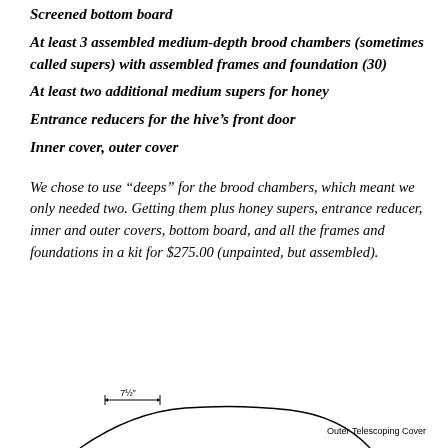Screened bottom board
At least 3 assembled medium-depth brood chambers (sometimes called supers) with assembled frames and foundation (30)
At least two additional medium supers for honey
Entrance reducers for the hive’s front door
Inner cover, outer cover
We chose to use “deeps” for the brood chambers, which meant we only needed two. Getting them plus honey supers, entrance reducer, inner and outer covers, bottom board, and all the frames and foundations in a kit for $275.00 (unpainted, but assembled).
[Figure (engineering-diagram): Partial diagram of an Outer Telescoping Cover with dimension label showing 7½” width and a curved top profile visible at bottom of page.]